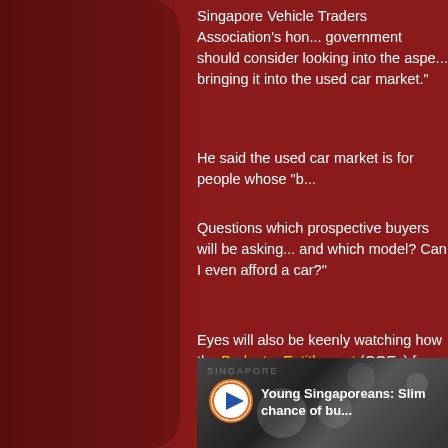Singapore Vehicle Traders Association's hon... government should consider looking into the aspe... bringing it into the used car market."
He said the used car market is for people whose "b...
Questions which prospective buyers will be asking... and which model? Can I even afford a car?"
Eyes will also be keenly watching how the Budget ... Entitlement (COEs) for cars. This will in turn determ... in Singapore will be.
[Figure (screenshot): Video thumbnail showing money/coins with play button and text 'Young Singaporeans: Slim chance of bu...']